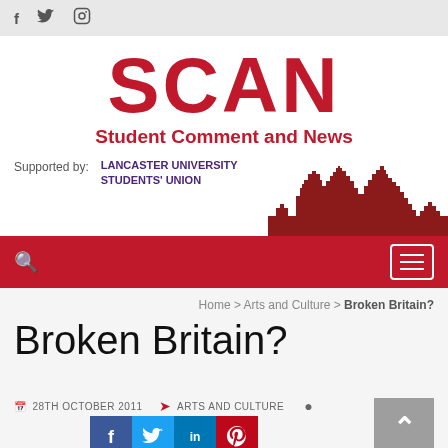Social icons: f (Facebook), Twitter, Instagram
SCAN
Student Comment and News
Supported by: LANCASTER UNIVERSITY STUDENTS' UNION
[Figure (illustration): City skyline silhouette in dark red]
[Figure (infographic): Red navigation bar with search icon and hamburger menu button]
Home > Arts and Culture > Broken Britain?
Broken Britain?
28TH OCTOBER 2011   ARTS AND CULTURE
[Figure (infographic): Social share buttons: Facebook, Twitter, LinkedIn, Pinterest]
[Figure (infographic): Grey back-to-top button with upward arrow]